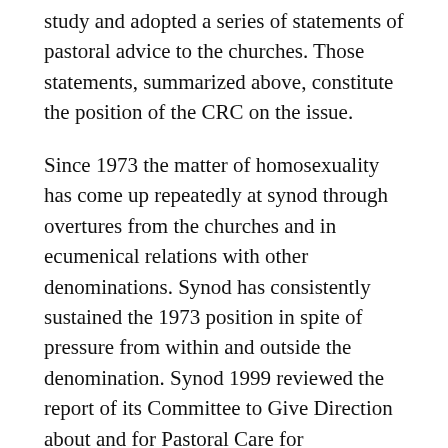study and adopted a series of statements of pastoral advice to the churches. Those statements, summarized above, constitute the position of the CRC on the issue.
Since 1973 the matter of homosexuality has come up repeatedly at synod through overtures from the churches and in ecumenical relations with other denominations. Synod has consistently sustained the 1973 position in spite of pressure from within and outside the denomination. Synod 1999 reviewed the report of its Committee to Give Direction about and for Pastoral Care for Homosexual Members. The report was sent to the churches for responses. Synod 2002 received a final form of the report and adopted it with some alterations.